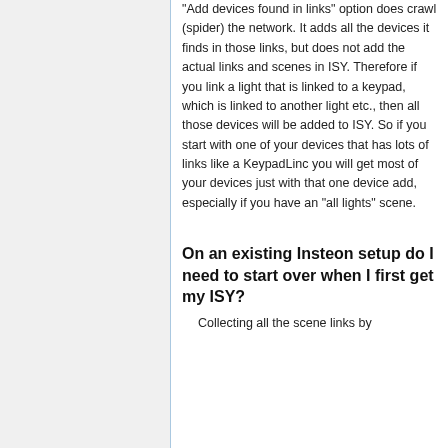"Add devices found in links" option does crawl (spider) the network. It adds all the devices it finds in those links, but does not add the actual links and scenes in ISY. Therefore if you link a light that is linked to a keypad, which is linked to another light etc., then all those devices will be added to ISY. So if you start with one of your devices that has lots of links like a KeypadLinc you will get most of your devices just with that one device add, especially if you have an "all lights" scene.
On an existing Insteon setup do I need to start over when I first get my ISY?
Collecting all the scene links by